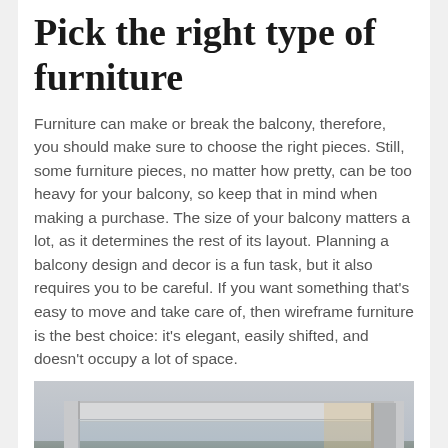Pick the right type of furniture
Furniture can make or break the balcony, therefore, you should make sure to choose the right pieces. Still, some furniture pieces, no matter how pretty, can be too heavy for your balcony, so keep that in mind when making a purchase. The size of your balcony matters a lot, as it determines the rest of its layout. Planning a balcony design and decor is a fun task, but it also requires you to be careful. If you want something that’s easy to move and take care of, then wireframe furniture is the best choice: it’s elegant, easily shifted, and doesn’t occupy a lot of space.
[Figure (photo): Exterior photo of a modern balcony or pergola structure with white/grey metal framing, glass panels, trees in the background, warm interior lighting visible through sliding glass doors on the right side.]